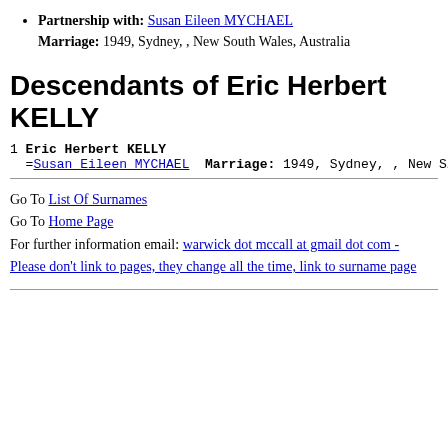Partnership with: Susan Eileen MYCHAEL Marriage: 1949, Sydney, , New South Wales, Australia
Descendants of Eric Herbert KELLY
1 Eric Herbert KELLY
=Susan Eileen MYCHAEL  Marriage: 1949, Sydney, , New S…
Go To List Of Surnames
Go To Home Page
For further information email: warwick dot mccall at gmail dot com - Please don't link to pages, they change all the time, link to surname page